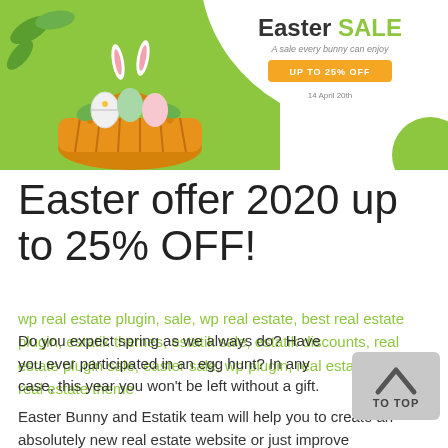[Figure (illustration): Easter Sale banner with green background, Easter egg basket illustration on the left, white curved section on the right with 'Easter SALE' heading, tagline 'A sale every bunny can enjoy', orange button 'UP TO 25% OFF', and date '14 April 20th']
Easter offer 2020 up to 25% OFF!
wp real estate plugin, sale, wp real estate, best real estate plugin, estatik themes, estatik sale, estatik discounts, real estate plugin sale, easter sale, wp plugin, real estate plugin, real estate theme
Do you expect spring as we always do? Have you ever participated in an egg hunt? In any case, this year you won't be left without a gift.
Easter Bunny and Estatik team will help you to create an absolutely new real estate website or just improve